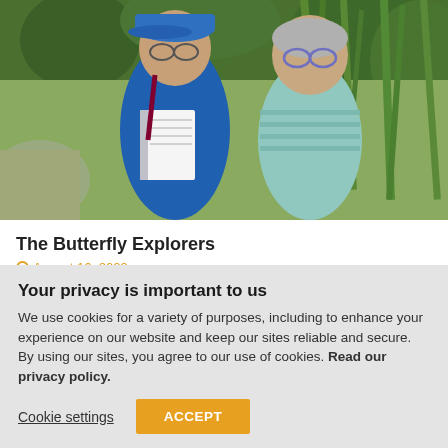[Figure (photo): Two older women smiling outdoors surrounded by green vegetation. The woman on the left wears a blue cap and blue shirt and holds a spiral notebook. The woman on the right wears a light teal striped shirt.]
The Butterfly Explorers
August 16, 2022
Your privacy is important to us
We use cookies for a variety of purposes, including to enhance your experience on our website and keep our sites reliable and secure. By using our sites, you agree to our use of cookies. Read our privacy policy.
Cookie settings
ACCEPT